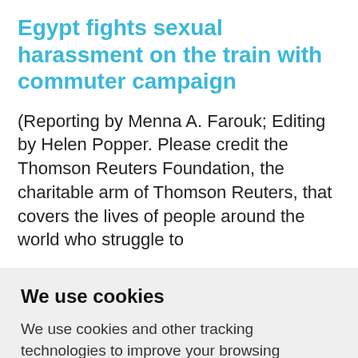Egypt fights sexual harassment on the train with commuter campaign
(Reporting by Menna A. Farouk; Editing by Helen Popper. Please credit the Thomson Reuters Foundation, the charitable arm of Thomson Reuters, that covers the lives of people around the world who struggle to live free from fear or want...
We use cookies
We use cookies and other tracking technologies to improve your browsing experience on our website, to show you personalized content and targeted ads, to analyze our website traffic, and to understand where our visitors are coming from.